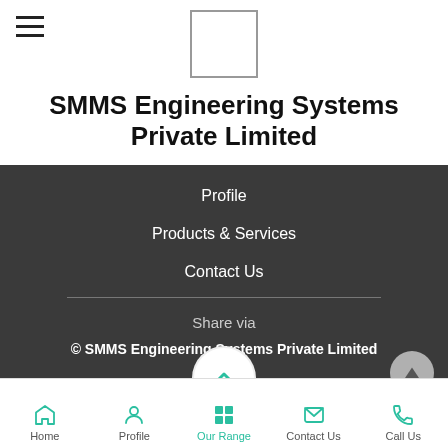[Figure (logo): Small rectangular logo placeholder box centered in top header]
SMMS Engineering Systems Private Limited
Profile
Products & Services
Contact Us
Share via
© SMMS Engineering Systems Private Limited
Home | Profile | Our Range | Contact Us | Call Us